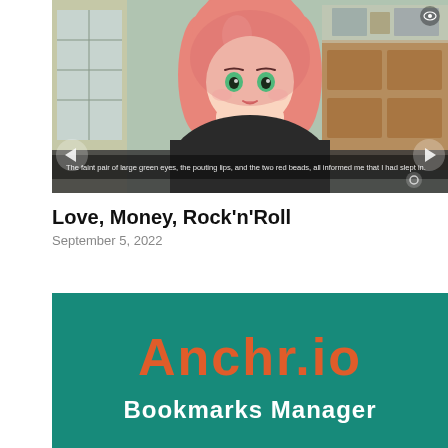[Figure (illustration): Screenshot of a visual novel game showing an anime girl with pink hair and green eyes in a Japanese-style room. The character wears a dark hoodie and appears to be looking at the viewer. Game UI navigation arrows visible on left and right sides. Subtitle text reads: 'The faint pair of large green eyes, the pouting lips, and the two red beads, all informed me that I had slept in.']
Love, Money, Rock'n'Roll
September 5, 2022
[Figure (illustration): Promotional image with teal/green background. Large orange bold text reads 'Anchr.io' and white bold text below reads 'Bookmarks Manager'.]